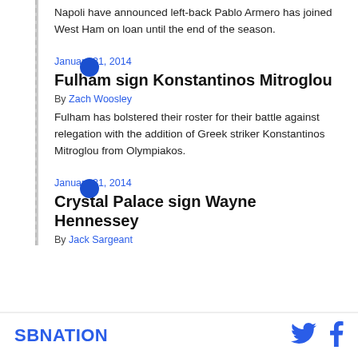Napoli have announced left-back Pablo Armero has joined West Ham on loan until the end of the season.
January 31, 2014
Fulham sign Konstantinos Mitroglou
By Zach Woosley
Fulham has bolstered their roster for their battle against relegation with the addition of Greek striker Konstantinos Mitroglou from Olympiakos.
January 31, 2014
Crystal Palace sign Wayne Hennessey
By Jack Sargeant
SBNATION